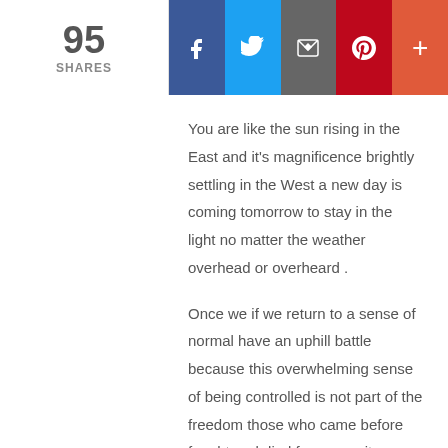95 SHARES | Facebook | Twitter | Email | Pinterest | +
You are like the sun rising in the East and it's magnificence brightly settling in the West a new day is coming tomorrow to stay in the light no matter the weather overhead or overheard .
Once we if we return to a sense of normal have an uphill battle because this overwhelming sense of being controlled is not part of the freedom those who came before fought and died for so yes it seems like a time out and what we need during these incoming eight months is